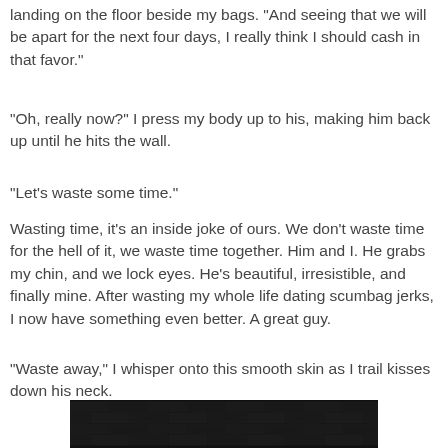landing on the floor beside my bags. “And seeing that we will be apart for the next four days, I really think I should cash in that favor.”
“Oh, really now?” I press my body up to his, making him back up until he hits the wall.
“Let’s waste some time.”
Wasting time, it’s an inside joke of ours. We don’t waste time for the hell of it, we waste time together. Him and I. He grabs my chin, and we lock eyes. He’s beautiful, irresistible, and finally mine. After wasting my whole life dating scumbag jerks, I now have something even better. A great guy.
“Waste away,” I whisper onto this smooth skin as I trail kisses down his neck.
[Figure (illustration): Dark image with brick wall background showing the word 'Playlist' in decorative white script lettering with light rays at the bottom]